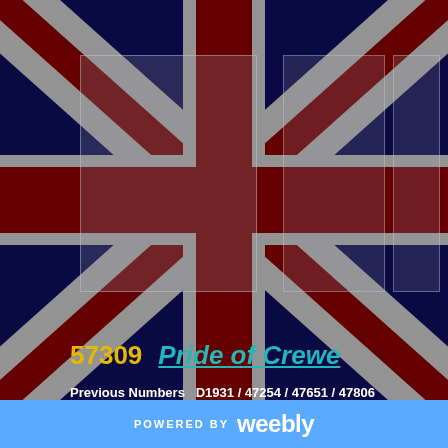[Figure (illustration): Union Jack (UK flag) background image with dark red, dark blue, and white/grey diagonal and straight cross patterns, with semi-transparent rectangular overlay panels]
57309   Pride of Crewe
Previous Numbers  D1931 / 47254 / 47651 / 47806
Previous Names  Brains
Dud For Haulage
POWERED BY weebly